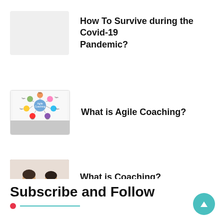[Figure (photo): Blank light gray thumbnail image placeholder for Covid-19 article]
How To Survive during the Covid-19 Pandemic?
[Figure (illustration): Agile coaching diagram showing a mind-map/wheel with 'Agile Coaching' at center and related topics around it, with a stone/wood texture strip at the bottom]
What is Agile Coaching?
[Figure (photo): Photo of two women in a coaching session, one holding a cup and the other gesturing with hand]
What is Coaching?
Subscribe and Follow